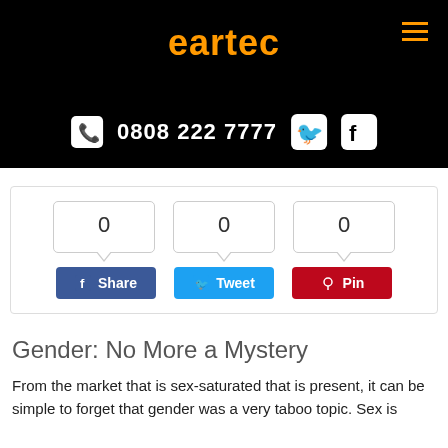eartec
0808 222 7777
[Figure (screenshot): Social share widget with three counter boxes showing 0, 0, 0 and three buttons: Share (Facebook, blue), Tweet (Twitter, light blue), Pin (Pinterest, red)]
Gender: No More a Mystery
From the market that is sex-saturated that is present, it can be simple to forget that gender was a very taboo topic. Sex is